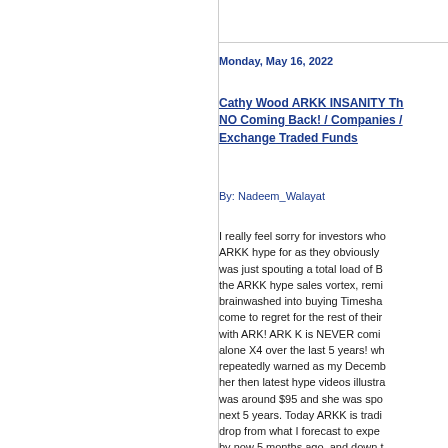Monday, May 16, 2022
Cathy Wood ARKK INSANITY Th... NO Coming Back! / Companies / Exchange Traded Funds
By: Nadeem_Walayat
I really feel sorry for investors who... ARKK hype for as they obviously ... was just spouting a total load of B... the ARKK hype sales vortex, remi... brainwashed into buying Timesha... come to regret for the rest of their... with ARK! ARK K is NEVER comi... alone X4 over the last 5 years! wh... repeatedly warned as my Decemb... her then latest hype videos illustra... was around $95 and she was spo... next 5 years. Today ARKK is tradi... drop from what I forecast to expe... by now 5 months ago, and down t...